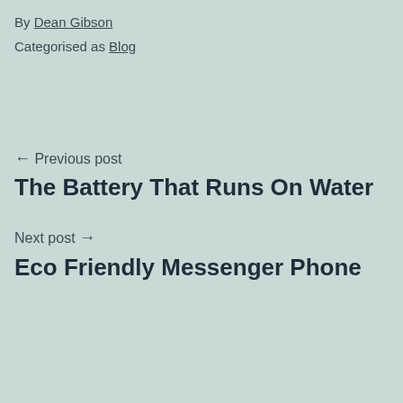By Dean Gibson
Categorised as Blog
← Previous post
The Battery That Runs On Water
Next post →
Eco Friendly Messenger Phone